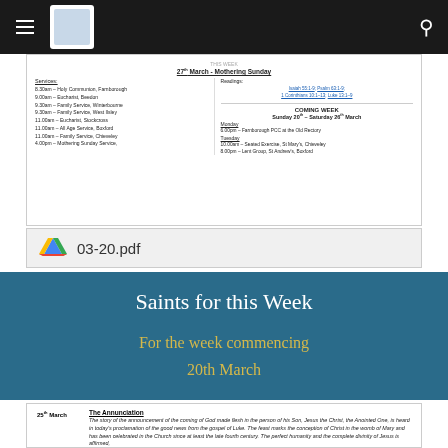Navigation bar with hamburger menu, logo, and search icon
[Figure (screenshot): Preview of a church newsletter PDF showing services for 27th March - Mothering Sunday and Coming Week Sunday 20th - Saturday 26th March]
03-20.pdf
Saints for this Week
For the week commencing
20th March
[Figure (screenshot): Bottom of page showing entry for 25th March - The Annunciation with italic text about the announcement of the coming of God made flesh]